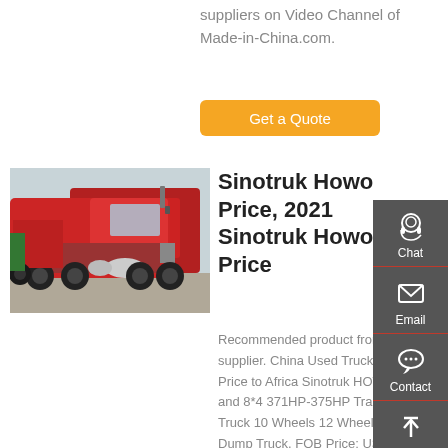suppliers on Video Channel of Made-in-China.com.
Get a Quote
[Figure (photo): Red Sinotruk Howo tractor trucks parked in a lot, multiple large red trucks visible from the side]
Sinotruk Howo Price, 2021 Sinotruk Howo Price
Recommended product from this supplier. China Used Truck Good Price to Africa Sinotruk HOWO 6*4 and 8*4 371HP-375HP Tractor Truck 10 Wheels 12 Wheels Used Dump Truck. FOB Price: US $ 8999-15499 / Piece.